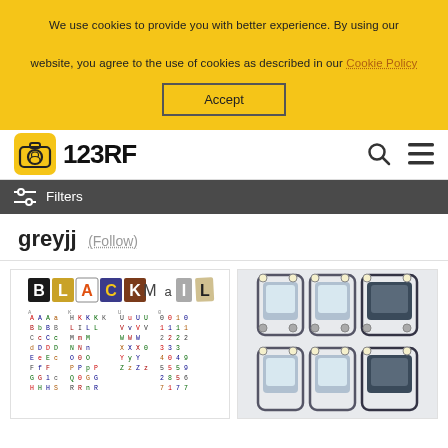We use cookies to provide you with better experience. By using our website, you agree to the use of cookies as described in our Cookie Policy
Accept
[Figure (logo): 123RF logo with camera icon]
Filters
greyjj (Follow)
[Figure (illustration): Blackmail ransom letter style alphabet collage]
[Figure (illustration): Top-down view of cars in parking lot]